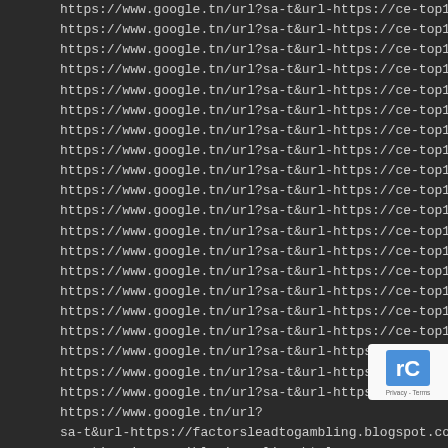https://www.google.tn/url?sa-t&url-https://ce-top10.com/
https://www.google.tn/url?sa-t&url-https://ce-top10.com/
https://www.google.tn/url?sa-t&url-https://ce-top10.com/
https://www.google.tn/url?sa-t&url-https://ce-top10.com/
https://www.google.tn/url?sa-t&url-https://ce-top10.com/
https://www.google.tn/url?sa-t&url-https://ce-top10.com/
https://www.google.tn/url?sa-t&url-https://ce-top10.com/
https://www.google.tn/url?sa-t&url-https://ce-top10.com/
https://www.google.tn/url?sa-t&url-https://ce-top10.com/
https://www.google.tn/url?sa-t&url-https://ce-top10.com/
https://www.google.tn/url?sa-t&url-https://ce-top10.com/
https://www.google.tn/url?sa-t&url-https://ce-top10.com/
https://www.google.tn/url?sa-t&url-https://ce-top10.com/
https://www.google.tn/url?sa-t&url-https://ce-top10.com/
https://www.google.tn/url?sa-t&url-https://ce-top10.com/
https://www.google.tn/url?sa-t&url-https://ce-top10.com/
https://www.google.tn/url?sa-t&url-https://ce-top10.com/
https://www.google.tn/url?sa-t&url-https://ce-top10.com/
https://www.google.tn/url?sa-t&url-https://ce-top10.com/
https://www.google.tn/url?sa-t&url-https://ce-top10.com/
https://www.google.tn/url?
sa-t&url-https://factorsleadtogambling.blogspot.com/2022/
counting-is-possible-in-online.html
https://www.google.sn/url?
sa-t&url-https://factorsleadtogambling.blogspot.com/2022/08/card-